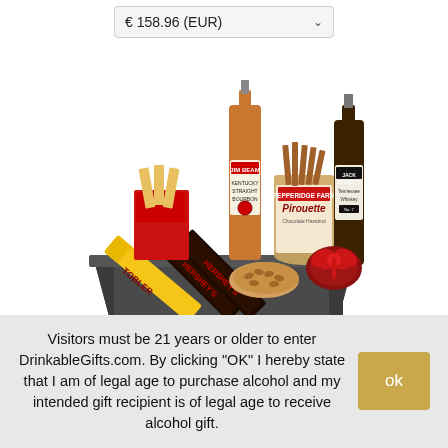€ 158.96 (EUR)
[Figure (photo): A dark gift basket containing two liquor bottles (Jim Beam and Jack Daniel's), a canister of Pirouette chocolate wafers, Toblerone chocolate bar, two Hershey's chocolate bars, nuts, and other snacks arranged together.]
Visitors must be 21 years or older to enter DrinkableGifts.com. By clicking "OK" I hereby state that I am of legal age to purchase alcohol and my intended gift recipient is of legal age to receive alcohol gift.